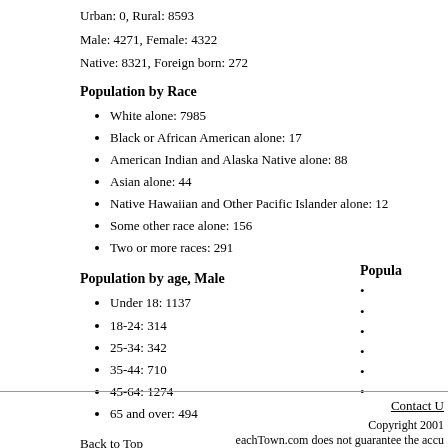Urban: 0, Rural: 8593
Male: 4271, Female: 4322
Native: 8321, Foreign born: 272
Population by Race
White alone: 7985
Black or African American alone: 17
American Indian and Alaska Native alone: 88
Asian alone: 44
Native Hawaiian and Other Pacific Islander alone: 12
Some other race alone: 156
Two or more races: 291
Population by age, Male
Under 18: 1137
18-24: 314
25-34: 342
35-44: 710
45-64: 1274
65 and over: 494
Back to Top
Contact U... Copyright 2001 eachTown.com does not guarantee the accu...